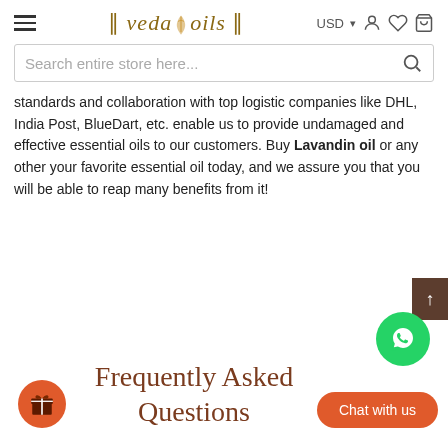[Figure (logo): VedaOils brand logo with decorative bars and stylized text]
[Figure (screenshot): Search bar with placeholder text 'Search entire store here...' and search icon]
standards and collaboration with top logistic companies like DHL, India Post, BlueDart, etc. enable us to provide undamaged and effective essential oils to our customers. Buy Lavandin oil or any other your favorite essential oil today, and we assure you that you will be able to reap many benefits from it!
Frequently Asked Questions